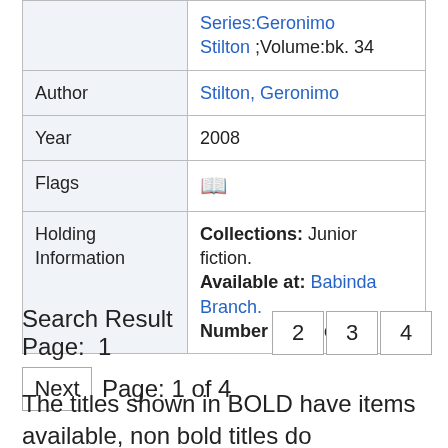| Field | Value |
| --- | --- |
|  | Series:Geronimo Stilton ;Volume:bk. 34 |
| Author | Stilton, Geronimo |
| Year | 2008 |
| Flags | 🞛 |
| Holding Information | Collections: Junior fiction.
Available at: Babinda Branch.
Number of Holdings: 1. |
Search Result Page: 1  2  3  4
Next  Page: 1 of 4
The titles shown in BOLD have items available, non bold titles do